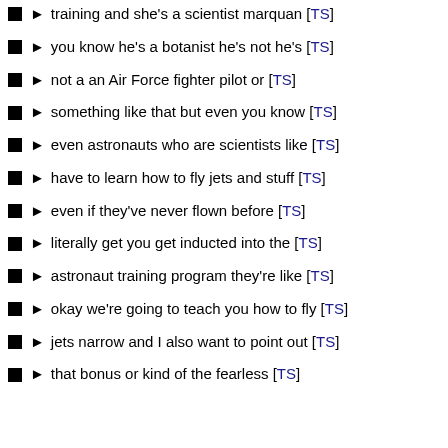training and she's a scientist marquan [TS]
you know he's a botanist he's not he's [TS]
not a an Air Force fighter pilot or [TS]
something like that but even you know [TS]
even astronauts who are scientists like [TS]
have to learn how to fly jets and stuff [TS]
even if they've never flown before [TS]
literally get you get inducted into the [TS]
astronaut training program they're like [TS]
okay we're going to teach you how to fly [TS]
jets narrow and I also want to point out [TS]
that bonus or kind of the fearless [TS]